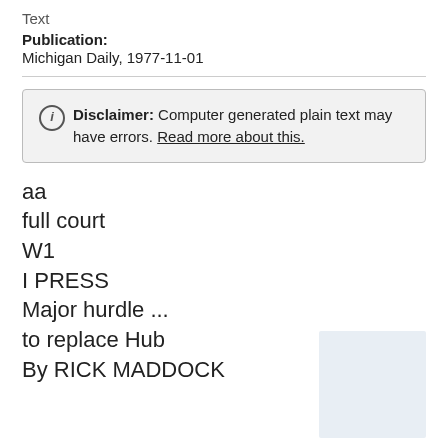Text
Publication:
Michigan Daily, 1977-11-01
Disclaimer: Computer generated plain text may have errors. Read more about this.
aa
full court
W1
I PRESS
Major hurdle ...
to replace Hub
By RICK MADDOCK
[Figure (other): Blurred/placeholder image in bottom right corner]